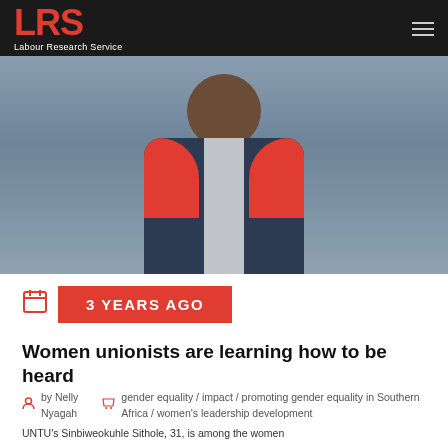LRS Labour Research Service
[Figure (photo): A smiling woman wearing a dark blue jacket with red collar lining, standing against a grey background.]
3 YEARS AGO
Women unionists are learning how to be heard
by Nelly Nyagah   gender equality / impact / promoting gender equality in Southern Africa / women's leadership development
UNTU's Sinbiweokuhle Sithole, 31, is among the women